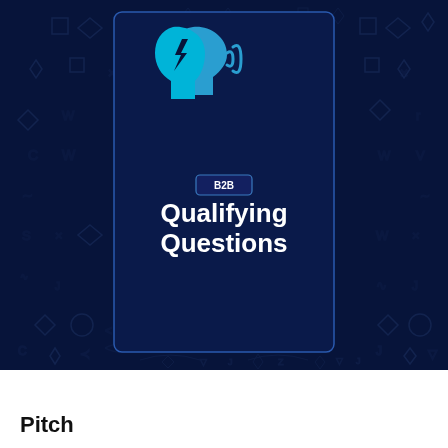[Figure (illustration): Cover image: dark navy background with geometric symbol pattern. Central card shows a cyan brain/head icon with lightning bolt, a B2B badge, and bold white text 'Qualifying Questions'.]
Pitch